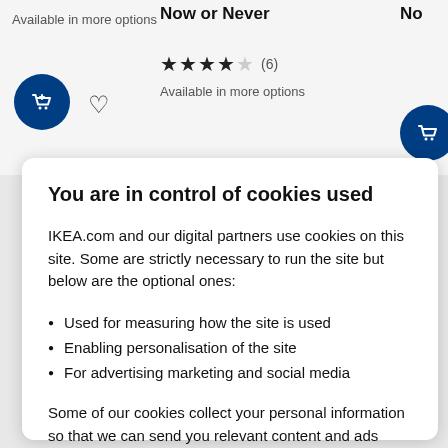Available in more options
Now or Never
No
★★★★☆ (6)
Available in more options
You are in control of cookies used
IKEA.com and our digital partners use cookies on this site. Some are strictly necessary to run the site but below are the optional ones:
Used for measuring how the site is used
Enabling personalisation of the site
For advertising marketing and social media
Some of our cookies collect your personal information so that we can send you relevant content and ads based on your preferences. Click on Cookie Settings to update these.
Ok
Cookies Settings